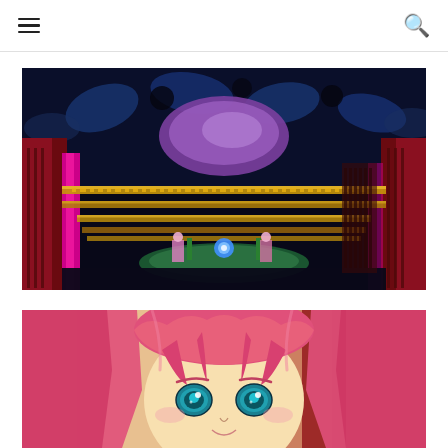Navigation header with hamburger menu and search icon
[Figure (illustration): Anime screenshot: dark atmospheric scene with a large purple oval shape on a dark blue ceiling with ornate patterns, two characters on a stage-like platform with glowing yellow horizontal banners/streamers and a blue glowing orb in the center, with red/dark curtains on the sides and magenta pillars]
[Figure (illustration): Anime screenshot close-up: pink-haired female anime character with bright teal/blue eyes looking upward, with light colored hands raised, background shows dark reddish room]